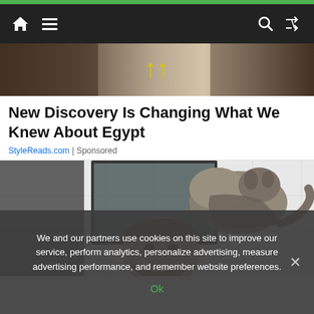Navigation bar with home, menu, search, and shuffle icons
[Figure (photo): Hero image showing an Egyptian archaeological scene with yellow arrow icons overlaid in the center]
New Discovery Is Changing What We Knew About Egypt
StyleReads.com | Sponsored
[Figure (photo): Photo of a smiling bearded man in a bathroom with a tabby cat standing on his head/shoulder, with a mirror reflection visible]
We and our partners use cookies on this site to improve our service, perform analytics, personalize advertising, measure advertising performance, and remember website preferences.
Ok